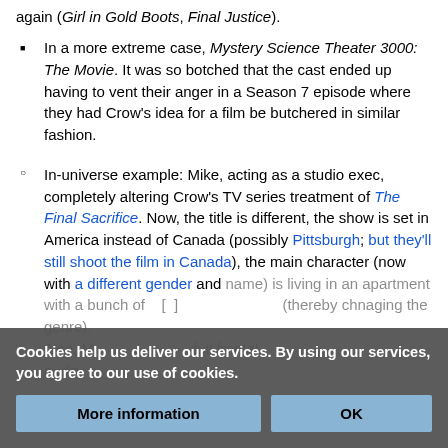again (Girl in Gold Boots, Final Justice).
In a more extreme case, Mystery Science Theater 3000: The Movie. It was so botched that the cast ended up having to vent their anger in a Season 7 episode where they had Crow's idea for a film be butchered in similar fashion.
In-universe example: Mike, acting as a studio exec, completely altering Crow's TV series treatment of The Final Sacrifice. Now, the title is different, the show is set in America instead of Canada (possibly Pittsburgh; but they'll still shoot the film in Canada), the main character (now with a different gender and name) is living in an apartment with a bunch of [partially obscured] (thereby changing the genre). Also, Mike [partially obscured] full frontal nudity o[partially obscured]
Cookies help us deliver our services. By using our services, you agree to our use of cookies.